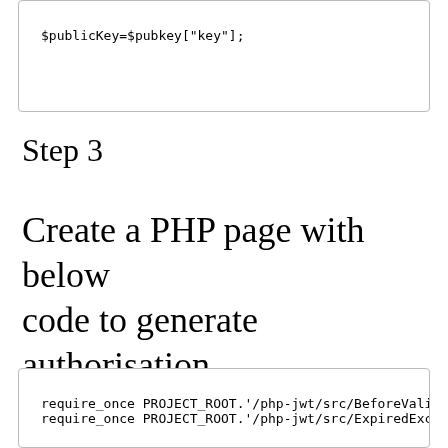[Figure (screenshot): Code box showing: $publicKey=$pubkey["key"];]
Step 3
Create a PHP page with below code to generate authorisation key
[Figure (screenshot): Code box showing: require_once PROJECT_ROOT.'/php-jwt/src/BeforeValidException.php'; require_once PROJECT_ROOT.'/php-jwt/src/ExpiredException.php';]